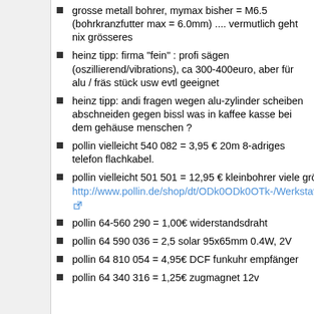grosse metall bohrer, mymax bisher = M6.5 (bohrkranzfutter max = 6.0mm) .... vermutlich geht nix grösseres
heinz tipp: firma "fein" : profi sägen (oszillierend/vibrations), ca 300-400euro, aber für alu / fräs stück usw evtl geeignet
heinz tipp: andi fragen wegen alu-zylinder scheiben abschneiden gegen bissl was in kaffee kasse bei dem gehäuse menschen ?
pollin vielleicht 540 082 = 3,95 € 20m 8-adriges telefon flachkabel.
pollin vielleicht 501 501 = 12,95 € kleinbohrer viele grössen, http://www.pollin.de/shop/dt/ODk0ODk0OTk-/Werkstatt/Werkzeuge/Bohrer_Fraeser_Bits/HSS_Minibohrer_DAYTOOLS_SBS_150_150_teilig.html
pollin 64-560 290 = 1,00€ widerstandsdraht
pollin 64 590 036 = 2,5 solar 95x65mm 0.4W, 2V
pollin 64 810 054 = 4,95€ DCF funkuhr empfänger
pollin 64 340 316 = 1,25€ zugmagnet 12v